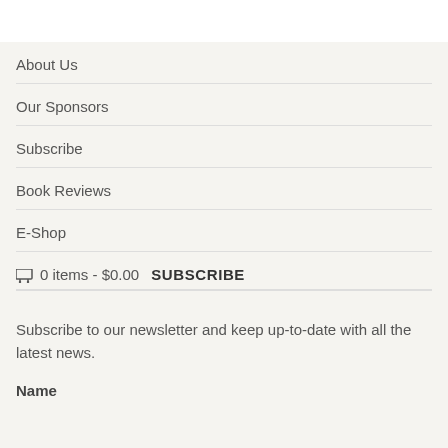About Us
Our Sponsors
Subscribe
Book Reviews
E-Shop
🛒 0 items - $0.00
SUBSCRIBE
Subscribe to our newsletter and keep up-to-date with all the latest news.
Name